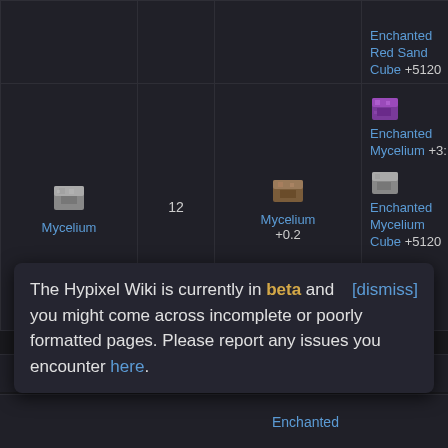| Item | Amount | Input | Output |
| --- | --- | --- | --- |
| Enchanted Red Sand Cube +5120 |  |  |  |
| Mycelium | 12 | Mycelium +0.2 | Enchanted Mycelium +3: / Enchanted Mycelium Cube +5120 |
|  |  |  | Packed |
The Hypixel Wiki is currently in beta and you might come across incomplete or poorly formatted pages. Please report any issues you encounter here.
Enchanted